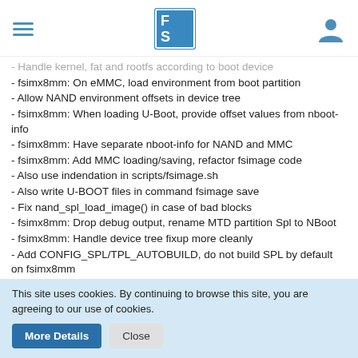F|S logo and navigation header
- Handle kernel, fat and rootfs according to boot device
- fsimx8mm: On eMMC, load environment from boot partition
- Allow NAND environment offsets in device tree
- fsimx8mm: When loading U-Boot, provide offset values from nboot-info
- fsimx8mm: Have separate nboot-info for NAND and MMC
- fsimx8mm: Add MMC loading/saving, refactor fsimage code
- Also use indendation in scripts/fsimage.sh
- Also write U-BOOT files in command fsimage save
- Fix nand_spl_load_image() in case of bad blocks
- fsimx8mm: Drop debug output, rename MTD partition Spl to NBoot
- fsimx8mm: Handle device tree fixup more cleanly
- Add CONFIG_SPL/TPL_AUTOBUILD, do not build SPL by default on fsimx8mm
- fsimx8mm: Add all current BOARD_CFGs
This site uses cookies. By continuing to browse this site, you are agreeing to our use of cookies.